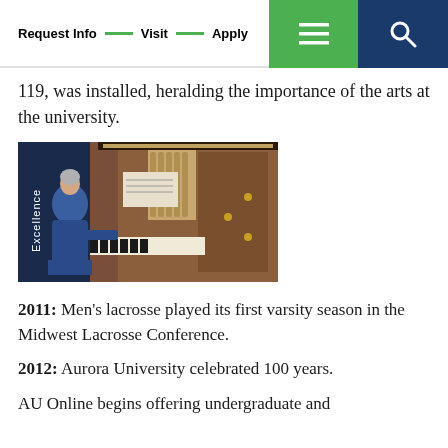Request Info — Visit — Apply
119, was installed, heralding the importance of the arts at the university.
[Figure (photo): A person in a blue jacket playing an organ with wooden cabinet, with a banner reading 'Excellence' visible in the background.]
2011: Men's lacrosse played its first varsity season in the Midwest Lacrosse Conference.
2012: Aurora University celebrated 100 years.
AU Online begins offering undergraduate and